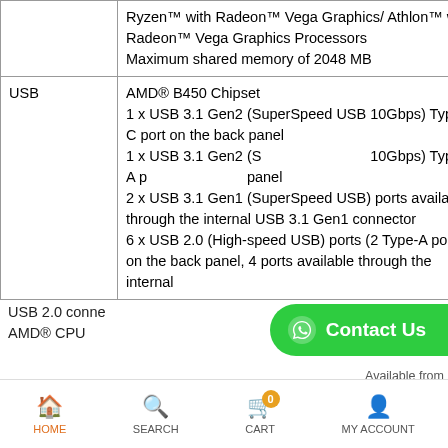|  |  |
| --- | --- |
|  | Ryzen™ with Radeon™ Vega Graphics/ Athlon™ with Radeon™ Vega Graphics Processors
Maximum shared memory of 2048 MB |
| USB | AMD® B450 Chipset
1 x USB 3.1 Gen2 (SuperSpeed USB 10Gbps) Type-C port on the back panel
1 x USB 3.1 Gen2 (SuperSpeed USB 10Gbps) Type-A port on the back panel
2 x USB 3.1 Gen1 (SuperSpeed USB) ports available through the internal USB 3.1 Gen1 connector
6 x USB 2.0 (High-speed USB) ports (2 Type-A ports on the back panel, 4 ports available through the internal USB 2.0 connector)
AMD® CPU |
HOME  SEARCH  CART  MY ACCOUNT